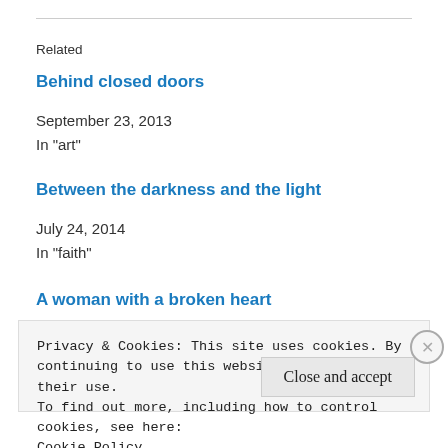Related
Behind closed doors
September 23, 2013
In "art"
Between the darkness and the light
July 24, 2014
In "faith"
A woman with a broken heart
Privacy & Cookies: This site uses cookies. By continuing to use this website, you agree to their use.
To find out more, including how to control cookies, see here:
Cookie Policy
Close and accept